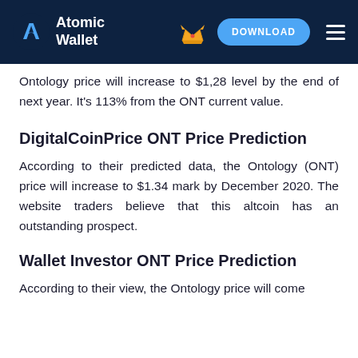Atomic Wallet | DOWNLOAD
Ontology price will increase to $1,28 level by the end of next year. It's 113% from the ONT current value.
DigitalCoinPrice ONT Price Prediction
According to their predicted data, the Ontology (ONT) price will increase to $1.34 mark by December 2020. The website traders believe that this altcoin has an outstanding prospect.
Wallet Investor ONT Price Prediction
According to their view, the Ontology price will come